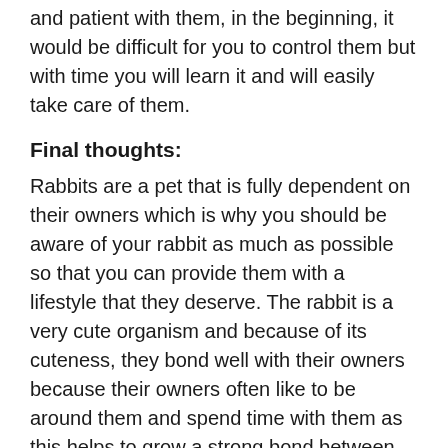and patient with them, in the beginning, it would be difficult for you to control them but with time you will learn it and will easily take care of them.
Final thoughts:
Rabbits are a pet that is fully dependent on their owners which is why you should be aware of your rabbit as much as possible so that you can provide them with a lifestyle that they deserve. The rabbit is a very cute organism and because of its cuteness, they bond well with their owners because their owners often like to be around them and spend time with them as this helps to grow a strong bond between the two and even the rabbits trust them a lot.
When a rabbit starts trusting their owners then they become quite loyal to them and this leads to the beginning of a new friendship that is beneficial for both of them also the rabbits and the owners will grow to understand the rabbit...